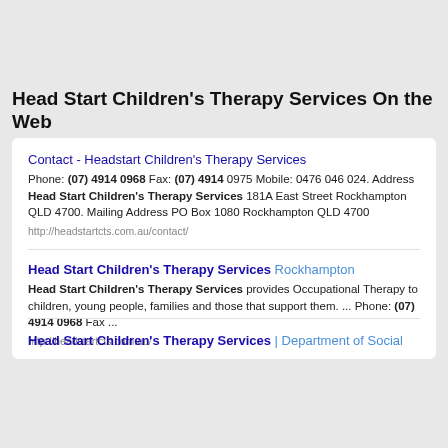Head Start Children's Therapy Services On the Web
Contact - Headstart Children's Therapy Services
Phone: (07) 4914 0968 Fax: (07) 4914 0975 Mobile: 0476 046 024. Address Head Start Children's Therapy Services 181A East Street Rockhampton QLD 4700. Mailing Address PO Box 1080 Rockhampton QLD 4700
http://headstartcts.com.au/contact/
Head Start Children's Therapy Services Rockhampton
Head Start Children's Therapy Services provides Occupational Therapy to children, young people, families and those that support them. ... Phone: (07) 4914 0968 Fax ...
http://headstartcts.com.au/
Head Start Children's Therapy Services | Department of Social